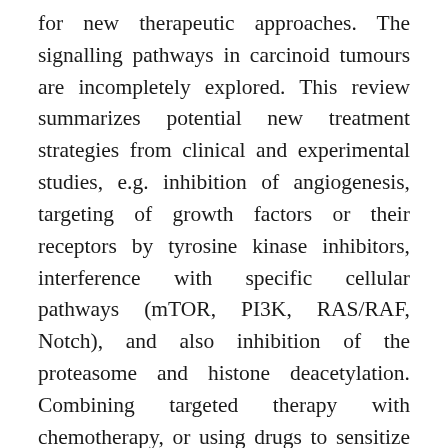for new therapeutic approaches. The signalling pathways in carcinoid tumours are incompletely explored. This review summarizes potential new treatment strategies from clinical and experimental studies, e.g. inhibition of angiogenesis, targeting of growth factors or their receptors by tyrosine kinase inhibitors, interference with specific cellular pathways (mTOR, PI3K, RAS/RAF, Notch), and also inhibition of the proteasome and histone deacetylation. Combining targeted therapy with chemotherapy, or using drugs to sensitize for radionuclide therapy, may enhance the treatment outcome.